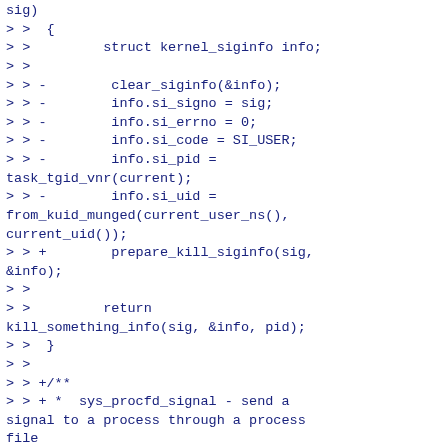sig)
> >  {
> >         struct kernel_siginfo info;
> >
> > -        clear_siginfo(&info);
> > -        info.si_signo = sig;
> > -        info.si_errno = 0;
> > -        info.si_code = SI_USER;
> > -        info.si_pid =
task_tgid_vnr(current);
> > -        info.si_uid =
from_kuid_munged(current_user_ns(),
current_uid());
> > +        prepare_kill_siginfo(sig,
&info);
> >
> >         return
kill_something_info(sig, &info, pid);
> >  }
> >
> > +/**
> > + *  sys_procfd_signal - send a
signal to a process through a process
file
> > + *                            descriptor
> > + *  @fd: the file descriptor of
the process
> > + *  @sig: signal to be sent
> > + *  @info: the signal info
> > + *  @flags: future flags to be
passed